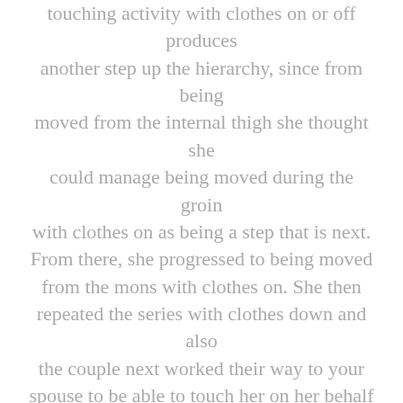touching activity with clothes on or off produces another step up the hierarchy, since from being moved from the internal thigh she thought she could manage being moved during the groin with clothes on as being a step that is next. From there, she progressed to being moved from the mons with clothes on. She then repeated the series with clothes down and also the couple next worked their way to your spouse to be able to touch her on her behalf labia. The essential aspects that are important leisure and building trust.
The focus is often on issues of control in couples therapy
As you can see, the process entails...